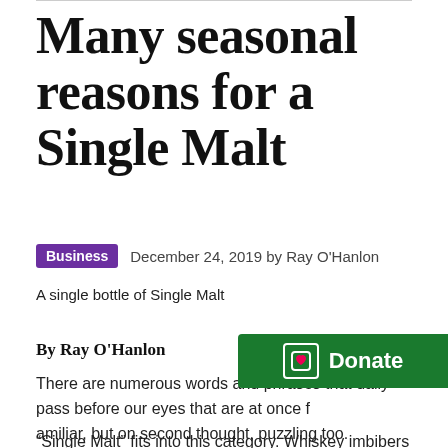Many seasonal reasons for a Single Malt
Business   December 24, 2019 by Ray O'Hanlon
A single bottle of Single Malt
By Ray O'Hanlon
There are numerous words and phrases that daily pass before our eyes that are at once familiar, but on second thought, puzzling too.
“Single Malt” fits into this category. Whiskey imbibers